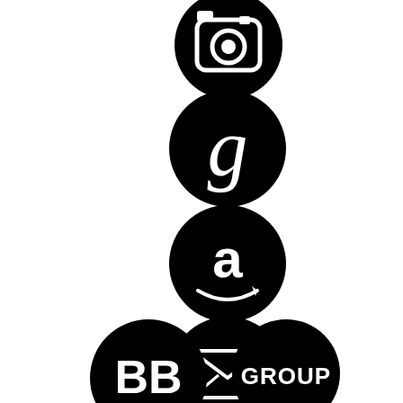[Figure (logo): Instagram icon - white camera icon on black circle, partially cropped at top]
[Figure (logo): Goodreads icon - white lowercase 'g' on black circle]
[Figure (logo): Amazon icon - white 'a' with arrow smile on black circle]
[Figure (logo): Newsletter icon - white envelope with 'NEWSLETTER' text on black circle]
[Figure (logo): BB (BookBub) logo - white 'BB' text on black circle]
[Figure (logo): GROUP logo - white 'GROUP' text on black circle]